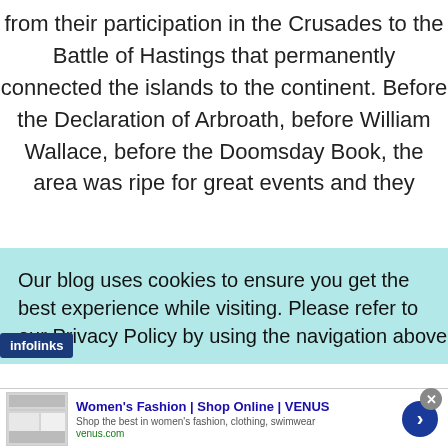from their participation in the Crusades to the Battle of Hastings that permanently connected the islands to the continent. Before the Declaration of Arbroath, before William Wallace, before the Doomsday Book, the area was ripe for great events and they
Our blog uses cookies to ensure you get the best experience while visiting. Please refer to our Privacy Policy by using the navigation above
[Figure (screenshot): Advertisement banner for Women's Fashion at venus.com with infolinks badge]